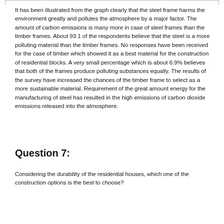It has been illustrated from the graph clearly that the steel frame harms the environment greatly and pollutes the atmosphere by a major factor. The amount of carbon emissions is many more in case of steel frames than the timber frames. About 93.1 of the respondents believe that the steel is a more polluting material than the timber frames. No responses have been received for the case of timber which showed it as a best material for the construction of residential blocks. A very small percentage which is about 6.9% believes that both of the frames produce polluting substances equally. The results of the survey have increased the chances of the timber frame to select as a more sustainable material. Requirement of the great amount energy for the manufacturing of steel has resulted in the high emissions of carbon dioxide emissions released into the atmosphere.
Question 7:
Considering the durability of the residential houses, which one of the construction options is the best to choose?